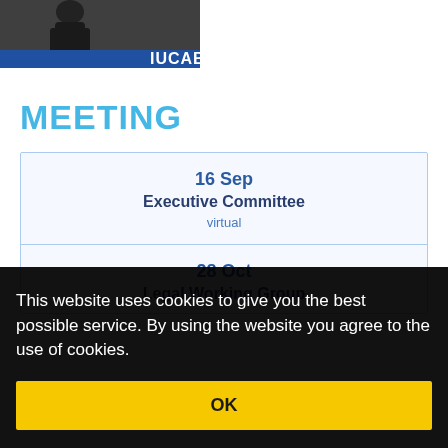[Figure (photo): IUCAB logo/header with dark background photo and blue bar at bottom showing 'IUCAB' text]
MEETING
| 16 Sep | Executive Committee | virtual |
| 28 Oct | Legal Working Group |  |
This website uses cookies to give you the best possible service. By using the website you agree to the use of cookies.
OK